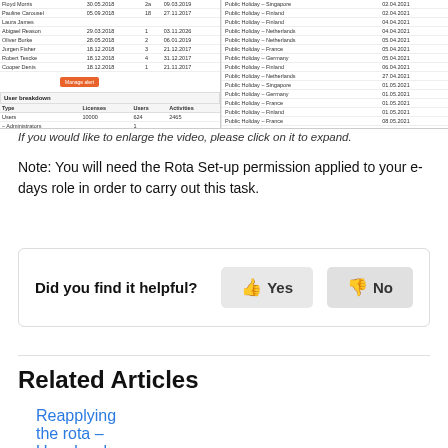[Figure (screenshot): Screenshot of an e-days application showing two panels: left panel with a user list table including names, dates, and numbers with a Manage alert button, and a User breakdown section with License, Users and Activities columns; right panel showing Public Holiday entries for various countries with dates in 2021.]
If you would like to enlarge the video, please click on it to expand.
Note: You will need the Rota Set-up permission applied to your e-days role in order to carry out this task.
Did you find it helpful?  Yes  No
Related Articles
Reapplying the rota – User level